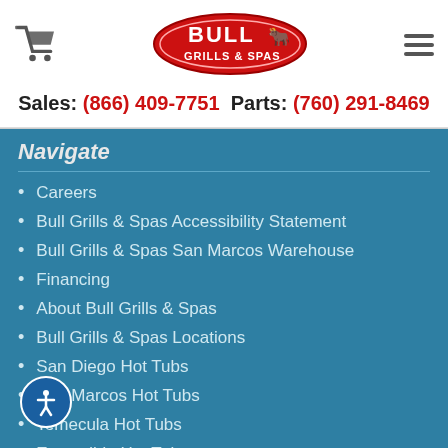[Figure (logo): Bull Grills & Spas logo — red oval badge with white text]
Sales: (866) 409-7751  Parts: (760) 291-8469
Navigate
Careers
Bull Grills & Spas Accessibility Statement
Bull Grills & Spas San Marcos Warehouse
Financing
About Bull Grills & Spas
Bull Grills & Spas Locations
San Diego Hot Tubs
San Marcos Hot Tubs
Temecula Hot Tubs
Escondido Hot Tubs
Specials
Blog
Contact
BBQ Service, Installation & Maintenance
Bull Grills & Spas San Diego
Spa Service & Installation
Bull Grills & Spas San M…